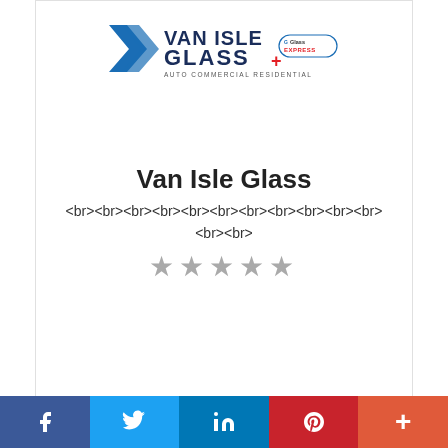[Figure (logo): Van Isle Glass logo with tagline AUTO COMMERCIAL RESIDENTIAL and Glass EXPRESS badge]
Van Isle Glass
<br><br><br><br><br><br><br><br><br><br><br><br><br>
★★★★★ (star rating, gray)
[Figure (logo): Let's Go Brandon Online Shop logo with shopping cart icon]
Facebook | Twitter | LinkedIn | Pinterest | More